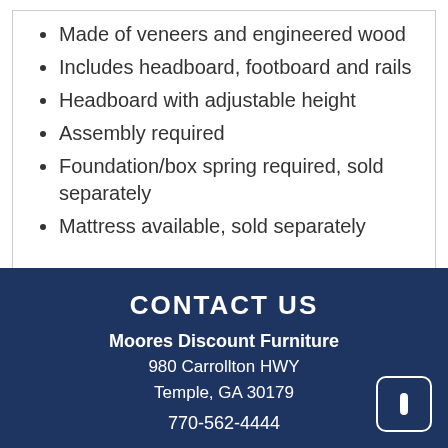Made of veneers and engineered wood
Includes headboard, footboard and rails
Headboard with adjustable height
Assembly required
Foundation/box spring required, sold separately
Mattress available, sold separately
CONTACT US
Moores Discount Furniture
980 Carrollton HWY
Temple, GA 30179
770-562-4444